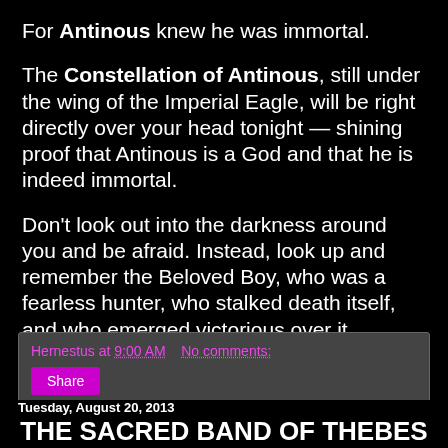For Antinous knew he was immortal.
The Constellation of Antinous, still under the wing of the Imperial Eagle, will be right directly over your head tonight — shining proof that Antinous is a God and that he is indeed immortal.
Don't look out into the darkness around you and be afraid. Instead, look up and remember the Beloved Boy, who was a fearless hunter, who stalked death itself, and who emerged victorious over it.
Hernestus at 9:00 AM   No comments:
Share
Tuesday, August 20, 2013
THE SACRED BAND OF THEBES